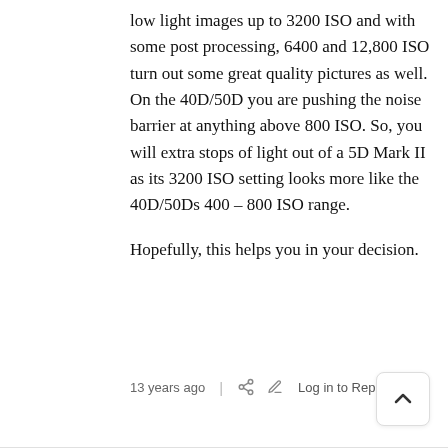low light images up to 3200 ISO and with some post processing, 6400 and 12,800 ISO turn out some great quality pictures as well. On the 40D/50D you are pushing the noise barrier at anything above 800 ISO. So, you will extra stops of light out of a 5D Mark II as its 3200 ISO setting looks more like the 40D/50Ds 400 – 800 ISO range.
Hopefully, this helps you in your decision.
13 years ago | Log in to Reply